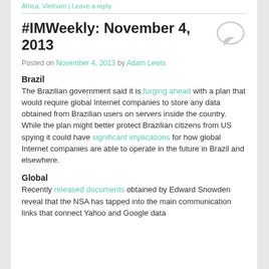Africa, Vietnam | Leave a reply
#IMWeekly: November 4, 2013
Posted on November 4, 2013 by Adam Lewis
Brazil
The Brazilian government said it is forging ahead with a plan that would require global Internet companies to store any data obtained from Brazilian users on servers inside the country. While the plan might better protect Brazilian citizens from US spying it could have significant implications for how global Internet companies are able to operate in the future in Brazil and elsewhere.
Global
Recently released documents obtained by Edward Snowden reveal that the NSA has tapped into the main communication links that connect Yahoo and Google data